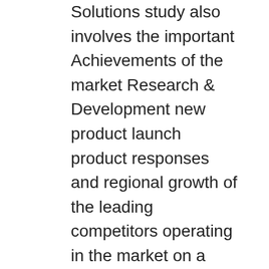Solutions study also involves the important Achievements of the market Research & Development new product launch product responses and regional growth of the leading competitors operating in the market on a universal and local scale. The structured analysis contains graphical as well as a diagrammatic representation of worldwide Content Moderation Solutions Market with its specific geographical regions including following key players TaskUs, Accenture, Microsoft, Cogito, Appen, Viafoura, Open Access BPO, Webhelp, Clarifai, Magellan Solutions,Boards, Others, and more.